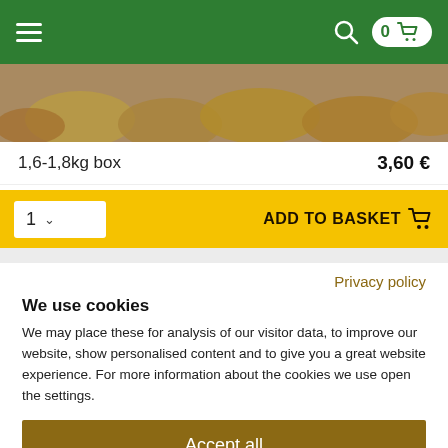Navigation header with hamburger menu, search icon, and cart with 0 items
[Figure (photo): Close-up photo of potatoes or similar root vegetables in a wooden box]
1,6-1,8kg box    3,60 €
1  ∨    ADD TO BASKET
Privacy policy
We use cookies
We may place these for analysis of our visitor data, to improve our website, show personalised content and to give you a great website experience. For more information about the cookies we use open the settings.
Accept all
Deny
Adjust settings